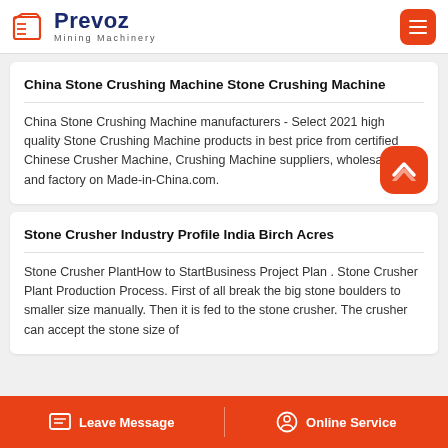Prevoz Mining Machinery
China Stone Crushing Machine Stone Crushing Machine
China Stone Crushing Machine manufacturers - Select 2021 high quality Stone Crushing Machine products in best price from certified Chinese Crusher Machine, Crushing Machine suppliers, wholesalers and factory on Made-in-China.com.
Stone Crusher Industry Profile India Birch Acres
Stone Crusher PlantHow to StartBusiness Project Plan . Stone Crusher Plant Production Process. First of all break the big stone boulders to smaller size manually. Then it is fed to the stone crusher. The crusher can accept the stone size of
Leave Message | Online Service